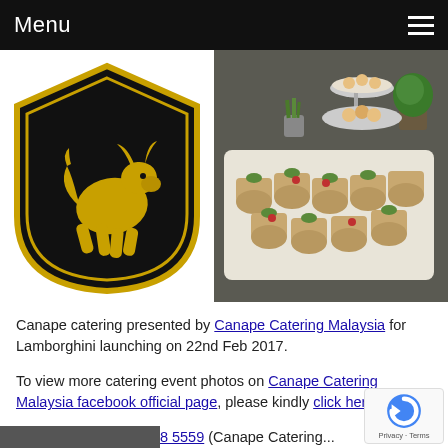Menu
[Figure (logo): Lamborghini golden bull shield logo on black background]
[Figure (photo): Canape catering food display — rolled wraps on a white tray with potted plants and tiered stands at a Lamborghini launching event]
Canape catering presented by Canape Catering Malaysia for Lamborghini launching on 22nd Feb 2017.
To view more catering event photos on Canape Catering Malaysia facebook official page, please kindly click here.
Call us now: +6012 368 5559 (Canape Catering...